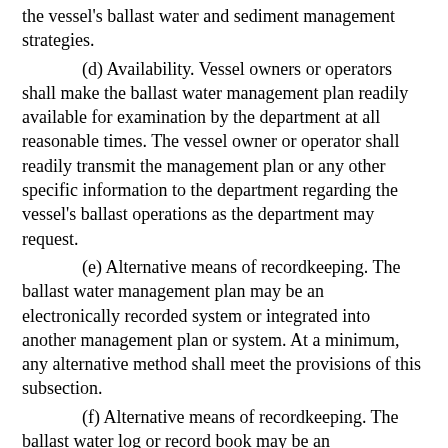the vessel's ballast water and sediment management strategies.
(d) Availability. Vessel owners or operators shall make the ballast water management plan readily available for examination by the department at all reasonable times. The vessel owner or operator shall readily transmit the management plan or any other specific information to the department regarding the vessel's ballast operations as the department may request.
(e) Alternative means of recordkeeping. The ballast water management plan may be an electronically recorded system or integrated into another management plan or system. At a minimum, any alternative method shall meet the provisions of this subsection.
(f) Alternative means of recordkeeping. The ballast water log or record book may be an electronically recorded system or integrated into another record book or system. At a minimum, any alternative method shall meet the provisions of this subsection.